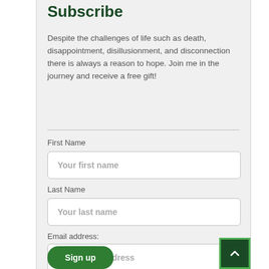Subscribe
Despite the challenges of life such as death, disappointment, disillusionment, and disconnection there is always a reason to hope. Join me in the journey and receive a free gift!
First Name
Your first name
Last Name
Your last name
Email address:
Your email address
Sign up